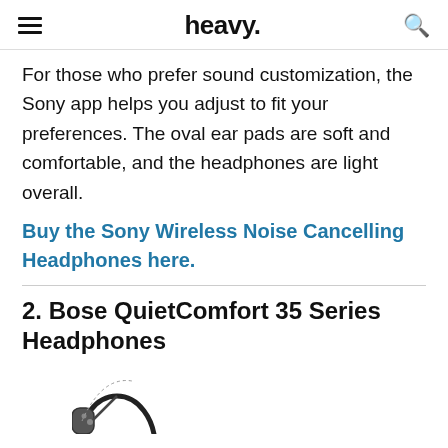heavy.
For those who prefer sound customization, the Sony app helps you adjust to fit your preferences. The oval ear pads are soft and comfortable, and the headphones are light overall.
Buy the Sony Wireless Noise Cancelling Headphones here.
2. Bose QuietComfort 35 Series Headphones
[Figure (photo): Partial view of Bose QuietComfort 35 Series headphones]